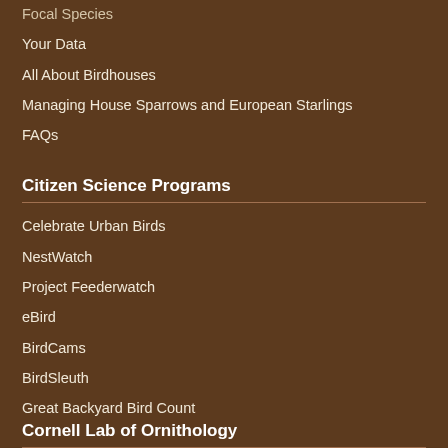Focal Species
Your Data
All About Birdhouses
Managing House Sparrows and European Starlings
FAQs
Citizen Science Programs
Celebrate Urban Birds
NestWatch
Project Feederwatch
eBird
BirdCams
BirdSleuth
Great Backyard Bird Count
Cornell Lab of Ornithology